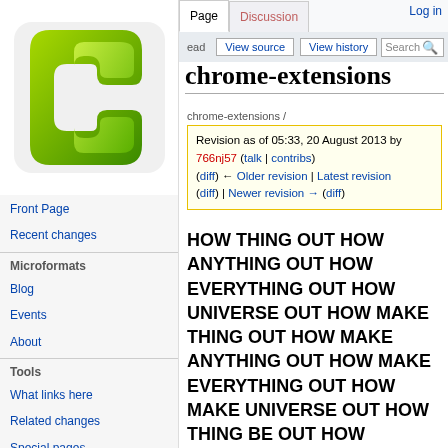[Figure (logo): Green Microformats wiki logo - stylized letter C shapes in green gradient]
Log in
Page | Discussion | View source | View history | Search
chrome-extensions
chrome-extensions /
Revision as of 05:33, 20 August 2013 by 766nj57 (talk | contribs)
(diff) ← Older revision | Latest revision
(diff) | Newer revision → (diff)
Front Page
Recent changes
Microformats
Blog
Events
About
Tools
What links here
Related changes
Special pages
Printable version
Permanent link
HOW THING OUT HOW ANYTHING OUT HOW EVERYTHING OUT HOW UNIVERSE OUT HOW MAKE THING OUT HOW MAKE ANYTHING OUT HOW MAKE EVERYTHING OUT HOW MAKE UNIVERSE OUT HOW THING BE OUT HOW ANYTHING BE OUT HOW EVERYTHING BE OUT HOW UNIVERSE BE OUT HOW MAKE